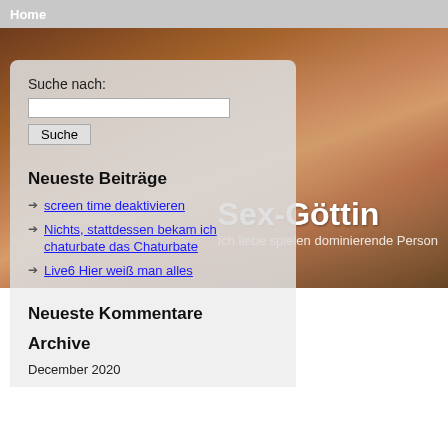Home
[Figure (photo): Hero banner photo of bar with bottles and a person, with overlay text 'Sex-Göttin' and subtitle 'Ich liebe spielen dominierende Person']
Suche nach:
Suche
Neueste Beiträge
screen time deaktivieren
Nichts, stattdessen bekam ich chaturbate das Chaturbate
Live6 Hier weiß man alles
Ausgezeichnete Unterhaltung für Erwachsene
Kräftig muss sie sein
Neueste Kommentare
Archive
screen time deak
Categories: Allgemein
Comments: 0
This person is a verified professional setting screen timeout value. Break tweaks with Moment. This means th well as the application from the unkn